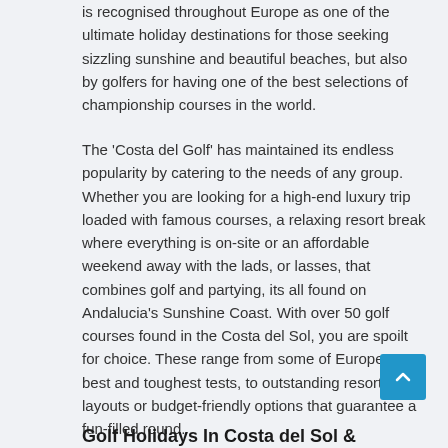is recognised throughout Europe as one of the ultimate holiday destinations for those seeking sizzling sunshine and beautiful beaches, but also by golfers for having one of the best selections of championship courses in the world.
The 'Costa del Golf' has maintained its endless popularity by catering to the needs of any group. Whether you are looking for a high-end luxury trip loaded with famous courses, a relaxing resort break where everything is on-site or an affordable weekend away with the lads, or lasses, that combines golf and partying, its all found on Andalucia's Sunshine Coast. With over 50 golf courses found in the Costa del Sol, you are spoilt for choice. These range from some of Europe's best and toughest tests, to outstanding resort layouts or budget-friendly options that guarantee a fun-filled round.
Golf Holidays In Costa del Sol &